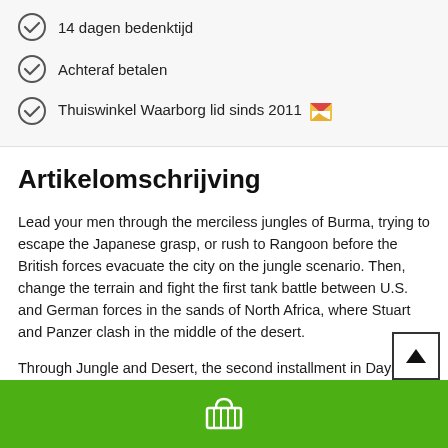14 dagen bedenktijd
Achteraf betalen
Thuiswinkel Waarborg lid sinds 2011
Artikelomschrijving
Lead your men through the merciless jungles of Burma, trying to escape the Japanese grasp, or rush to Rangoon before the British forces evacuate the city on the jungle scenario. Then, change the terrain and fight the first tank battle between U.S. and German forces in the sands of North Africa, where Stuart and Panzer clash in the middle of the desert.
Through Jungle and Desert, the second installment in Days of